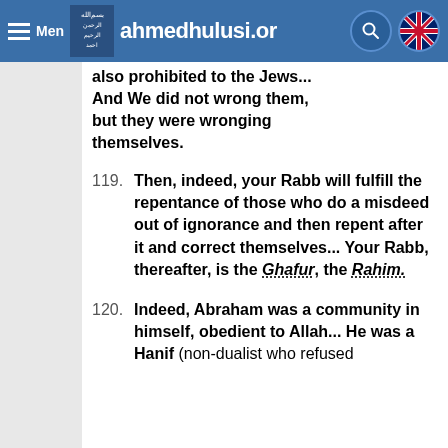Menu | ahmedhulusi.org
also prohibited to the Jews... And We did not wrong them, but they were wronging themselves.
119. Then, indeed, your Rabb will fulfill the repentance of those who do a misdeed out of ignorance and then repent after it and correct themselves... Your Rabb, thereafter, is the Ghafur, the Rahim.
120. Indeed, Abraham was a community in himself, obedient to Allah... He was a Hanif (non-dualist who refused